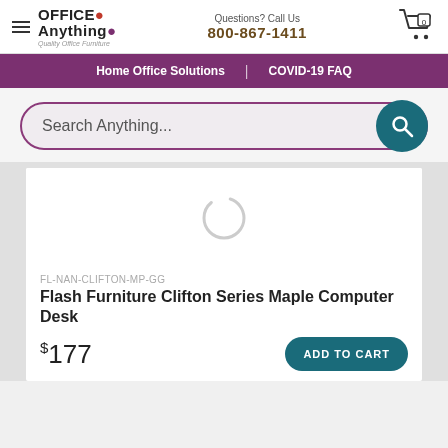Office Anything | Questions? Call Us 800-867-1411
Home Office Solutions | COVID-19 FAQ
Search Anything...
[Figure (screenshot): Loading spinner / product image placeholder]
FL-NAN-CLIFTON-MP-GG
Flash Furniture Clifton Series Maple Computer Desk
$177
ADD TO CART